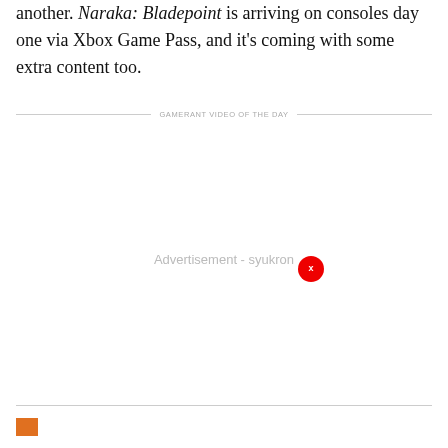another. Naraka: Bladepoint is arriving on consoles day one via Xbox Game Pass, and it's coming with some extra content too.
GAMERANT VIDEO OF THE DAY
[Figure (other): Advertisement area with 'Advertisement - syukron' text and a red close button circle with 'x']